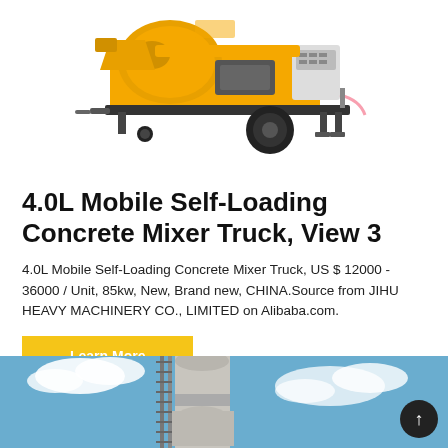[Figure (photo): Yellow mobile self-loading concrete mixer truck with black wheels and control panel, photographed from the side on white background.]
4.0L Mobile Self-Loading Concrete Mixer Truck, View 3
4.0L Mobile Self-Loading Concrete Mixer Truck, US $ 12000 - 36000 / Unit, 85kw, New, Brand new, CHINA.Source from JIHU HEAVY MACHINERY CO., LIMITED on Alibaba.com.
Learn More
[Figure (photo): Industrial cement silo or tower structure against a blue sky with white clouds, viewed from below.]